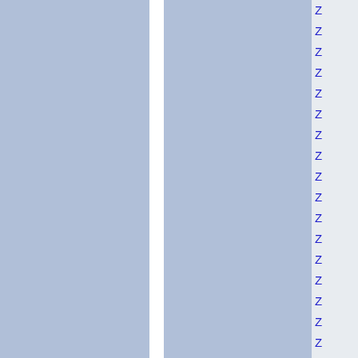[Figure (other): Document page with two blue-gray columns separated by a white vertical divider, and a right sidebar containing a vertical list of blue letter Z characters in light gray rows]
Z
Z
Z
Z
Z
Z
Z
Z
Z
Z
Z
Z
Z
Z
Z
Z
Z